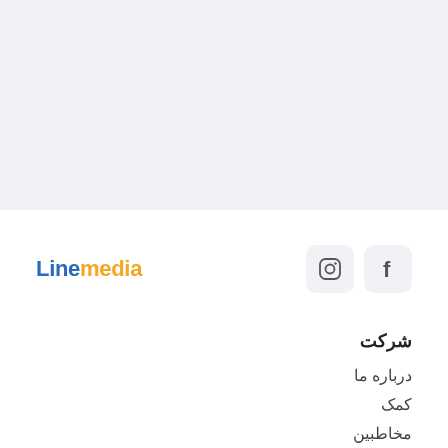[Figure (other): Light grey banner/header area at the top of the page]
Linemedia
[Figure (logo): Instagram icon button with rounded square background]
[Figure (logo): Facebook icon button with rounded square background]
شرکت
درباره ما
کمک
مخاطبین